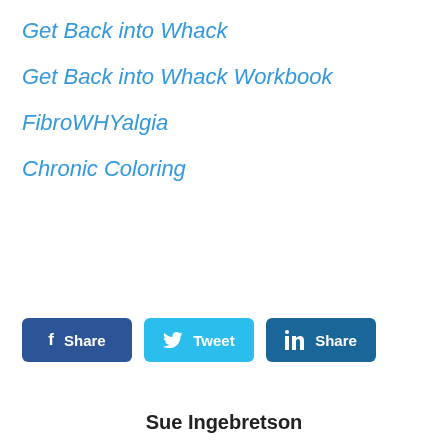Get Back into Whack
Get Back into Whack Workbook
FibroWHYalgia
Chronic Coloring
Share | Tweet | Share (social buttons)
Sue Ingebretson